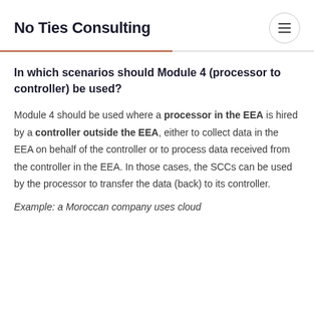No Ties Consulting
In which scenarios should Module 4 (processor to controller) be used?
Module 4 should be used where a processor in the EEA is hired by a controller outside the EEA, either to collect data in the EEA on behalf of the controller or to process data received from the controller in the EEA. In those cases, the SCCs can be used by the processor to transfer the data (back) to its controller.
Example: a Moroccan company uses cloud